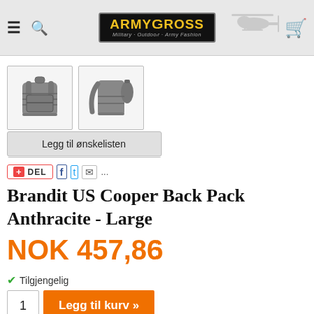ARMYGROSS - Military - Outdoor - Army Fashion
[Figure (photo): Two thumbnail photos of a grey/anthracite military backpack (Brandit US Cooper) — front view and side view]
Legg til ønskelisten
DEL
Brandit US Cooper Back Pack Anthracite - Large
NOK 457,86
Tilgjengelig
1  Legg til kurv »